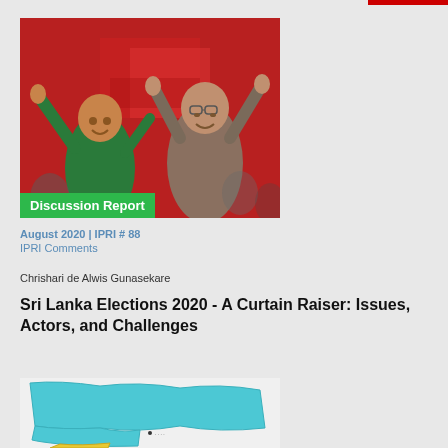[Figure (photo): Two men waving to a crowd against a red background, political rally photo]
Discussion Report
August 2020 | IPRI # 88
IPRI Comments
Chrishari de Alwis Gunasekare
Sri Lanka Elections 2020 - A Curtain Raiser: Issues, Actors, and Challenges
READ MORE
[Figure (map): Colored map showing regions, with teal/cyan and yellow colors indicating different territories]